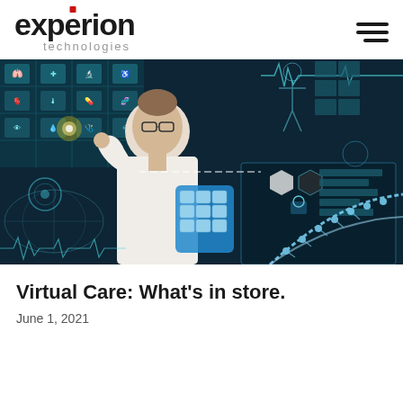experion technologies
[Figure (photo): A female doctor in a white lab coat wearing glasses, touching a futuristic digital interface screen with medical icons, holding a blue tablet device. Various holographic medical dashboards and data visualizations visible in the background including a glowing blue DNA helix, medical body scans, and health monitoring graphs.]
Virtual Care: What’s in store.
June 1, 2021